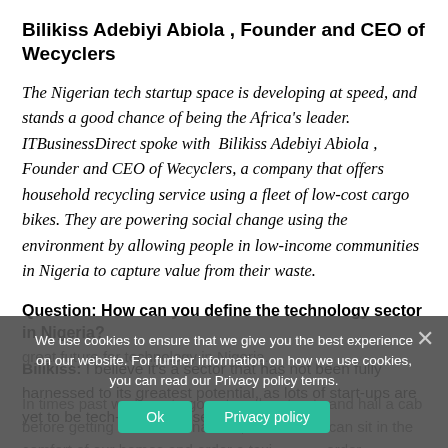Bilikiss Adebiyi Abiola , Founder and CEO of Wecyclers
The Nigerian tech startup space is developing at speed, and stands a good chance of being the Africa's leader.  ITBusinessDirect spoke with  Bilikiss Adebiyi Abiola , Founder and CEO of Wecyclers, a company that offers  household recycling service using a fleet of low-cost cargo bikes. They are powering social change using the environment by allowing people in low-income communities in Nigeria to capture value from their waste.
Question: How can you define the technology sector in Nigeria?
Bilikiss: I believe it's a sector that has not been fully harnessed to its greatest potential, as lots of start-ups are yet to be tech-enabled. I see a great future for technology in Nigeria...
In times past we have to go out on the streets and hail a cab before getting to our destinations, but now we can sit in the comfort of our homes and order a taxi or order groceries, cars, clothes and shoes even without going to the digital stores. At the...
We use cookies to ensure that we give you the best experience on our website. For further information on how we use cookies, you can read our Privacy policy terms.